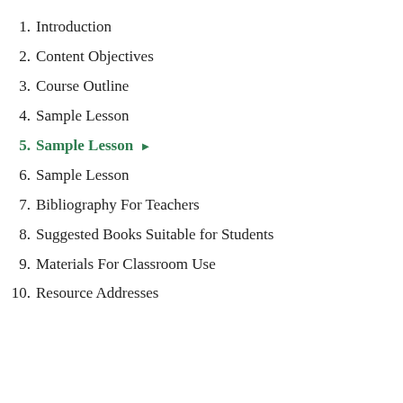1. Introduction
2. Content Objectives
3. Course Outline
4. Sample Lesson
5. Sample Lesson ▶
6. Sample Lesson
7. Bibliography For Teachers
8. Suggested Books Suitable for Students
9. Materials For Classroom Use
10. Resource Addresses